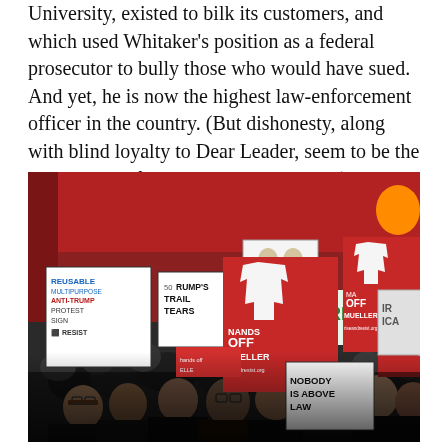University, existed to bilk its customers, and which used Whitaker's position as a federal prosecutor to bully those who would have sued. And yet, he is now the highest law-enforcement officer in the country. (But dishonesty, along with blind loyalty to Dear Leader, seem to be the prerequisites for a Trump appointment.)
[Figure (photo): A large protest crowd holding signs including 'HANDS OFF MUELLER', 'REUSABLE MULTIPURPOSE ANTI-TRUMP PROTEST SIGN', 'TRUMP'S TRAIL TEARS', 'RECUSE', 'NOBODY IS ABOVE LAW', and other protest signs. Red hand graphics are prominent on multiple signs. The crowd is densely packed indoors with a red background visible.]